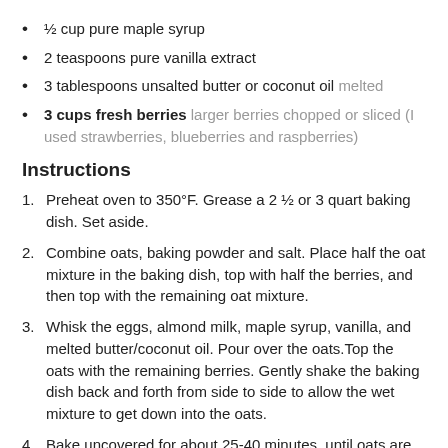½ cup pure maple syrup
2 teaspoons pure vanilla extract
3 tablespoons unsalted butter or coconut oil melted
3 cups fresh berries larger berries chopped or sliced (I used strawberries, blueberries and raspberries)
Instructions
Preheat oven to 350°F. Grease a 2 ½ or 3 quart baking dish. Set aside.
Combine oats, baking powder and salt. Place half the oat mixture in the baking dish, top with half the berries, and then top with the remaining oat mixture.
Whisk the eggs, almond milk, maple syrup, vanilla, and melted butter/coconut oil. Pour over the oats.Top the oats with the remaining berries. Gently shake the baking dish back and forth from side to side to allow the wet mixture to get down into the oats.
Bake uncovered for about 25-40 minutes, until oats are tender, and the mixture is set.
Serve immediately with a splash of milk, or cool, then cover